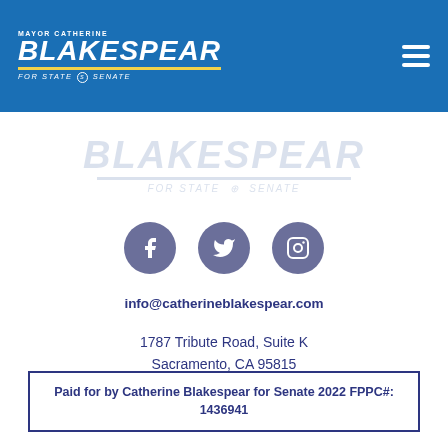[Figure (logo): Mayor Catherine Blakespear for State Senate campaign logo on blue header background with hamburger menu icon]
[Figure (logo): Blakespear for State Senate watermark logo in light blue]
[Figure (illustration): Three social media icons: Facebook, Twitter, Instagram in purple-grey circles]
info@catherineblakespear.com
1787 Tribute Road, Suite K
Sacramento, CA 95815
Paid for by Catherine Blakespear for Senate 2022 FPPC#: 1436941